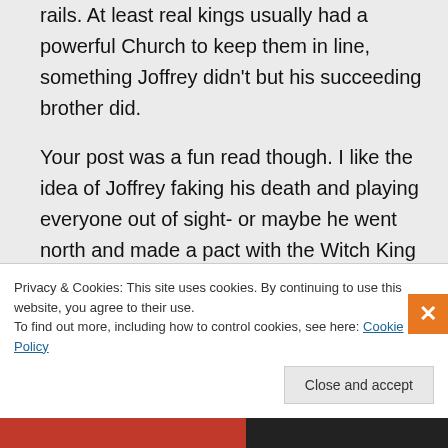rails. At least real kings usually had a powerful Church to keep them in line, something Joffrey didn't but his succeeding brother did.

Your post was a fun read though. I like the idea of Joffrey faking his death and playing everyone out of sight- or maybe he went north and made a pact with the Witch King and he'll reveal himself at the end (prior to he being toasted by a...
Privacy & Cookies: This site uses cookies. By continuing to use this website, you agree to their use.
To find out more, including how to control cookies, see here: Cookie Policy